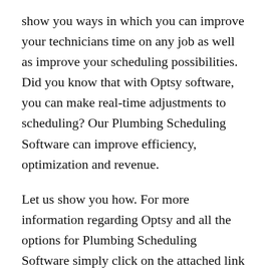show you ways in which you can improve your technicians time on any job as well as improve your scheduling possibilities. Did you know that with Optsy software, you can make real-time adjustments to scheduling? Our Plumbing Scheduling Software can improve efficiency, optimization and revenue.
Let us show you how. For more information regarding Optsy and all the options for Plumbing Scheduling Software simply click on the attached link https://optsy.com. You may also call directly to speak with one of